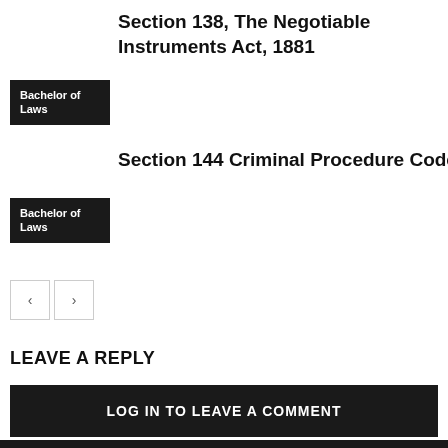Section 138, The Negotiable Instruments Act, 1881
Bachelor of Laws
Section 144 Criminal Procedure Code, 1973
Bachelor of Laws
LEAVE A REPLY
LOG IN TO LEAVE A COMMENT